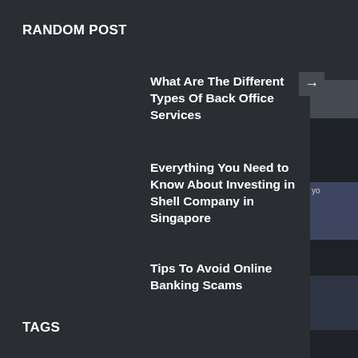RANDOM POST
What Are The Different Types Of Back Office Services
Everything You Need to Know About Investing in Shell Company in Singapore
Tips To Avoid Online Banking Scams
TAGS